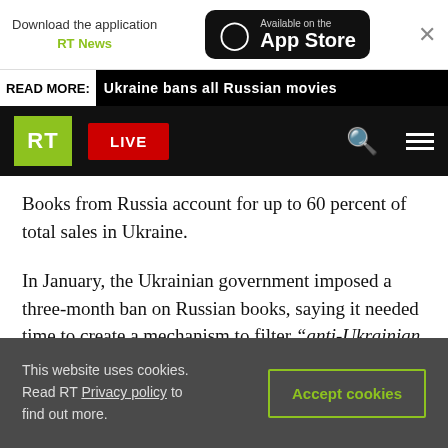[Figure (screenshot): App Store download banner for RT News app with 'Available on the App Store' button and close X]
READ MORE: Ukraine bans all Russian movies
[Figure (screenshot): RT navigation bar with green RT logo, red LIVE button, search icon, and hamburger menu on black background]
Books from Russia account for up to 60 percent of total sales in Ukraine.
In January, the Ukrainian government imposed a three-month ban on Russian books, saying it needed time to create a mechanism to filter “anti-Ukrainian propaganda from Russia.”
The ban had been discussed since September but took the publishers by surprise when implemented
This website uses cookies. Read RT Privacy policy to find out more.
Accept cookies